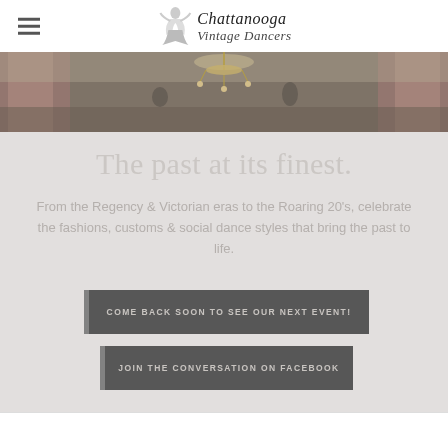Chattanooga Vintage Dancers
[Figure (photo): Hero banner image showing an elegant room interior with pink curtains and a chandelier, dimly lit in warm tones]
The past at its finest.
From the Regency & Victorian eras to the Roaring 20's, celebrate the fashions, customs & social dance styles that bring the past to life.
COME BACK SOON TO SEE OUR NEXT EVENT!
JOIN THE CONVERSATION ON FACEBOOK